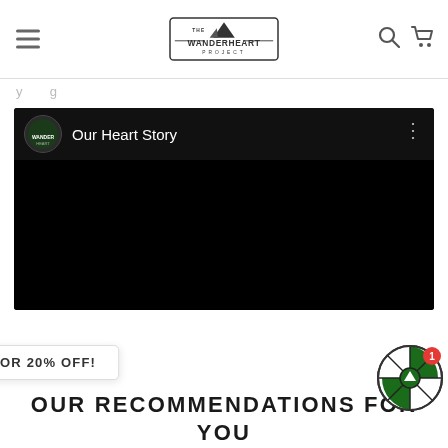The Wanderheart Project
y g
[Figure (screenshot): YouTube-style video embed with Wanderheart channel icon and title 'Our Heart Story' on a black background]
SPIN FOR 20% OFF!
[Figure (other): Spin wheel widget with green and white segments and a red badge showing '1']
OUR RECOMMENDATIONS FOR YOU